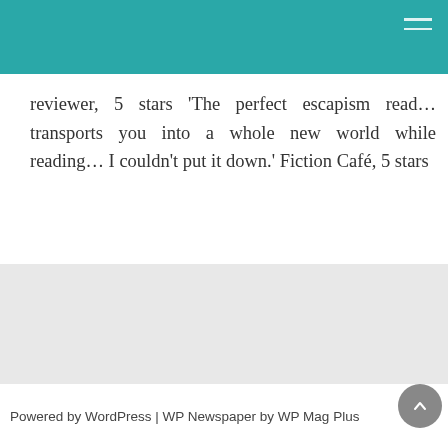reviewer, 5 stars 'The perfect escapism read… transports you into a whole new world while reading… I couldn't put it down.' Fiction Café, 5 stars
GET BOOK
Powered by WordPress | WP Newspaper by WP Mag Plus